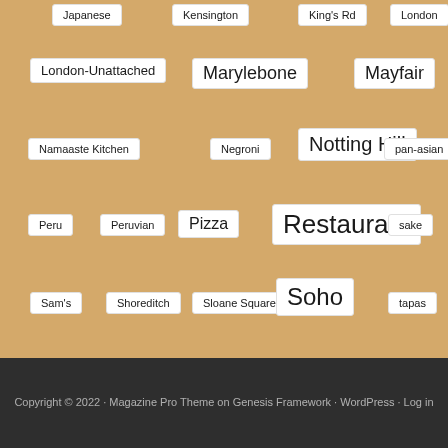Japanese
Kensington
King's Rd
London
London-Unattached
Marylebone
Mayfair
Namaaste Kitchen
Negroni
Notting Hill
pan-asian
Peru
Peruvian
Pizza
Restaurant
sake
Sam's
Shoreditch
Sloane Square
Soho
tapas
The Hedonist
The Saatchi Gallery
Tony Conigliaro
Copyright © 2022 · Magazine Pro Theme on Genesis Framework · WordPress · Log in